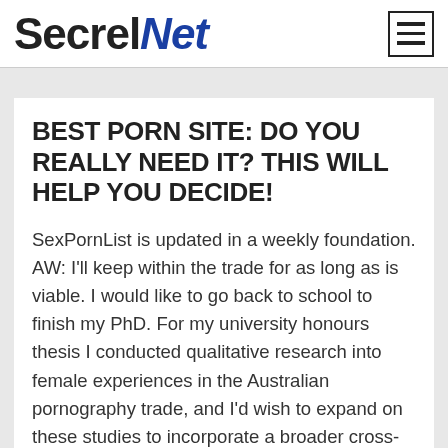SecrelNet
BEST PORN SITE: DO YOU REALLY NEED IT? THIS WILL HELP YOU DECIDE!
SexPornList is updated in a weekly foundation. AW: I'll keep within the trade for as long as is viable. I would like to go back to school to finish my PhD. For my university honours thesis I conducted qualitative research into female experiences in the Australian pornography trade, and I'd wish to expand on these studies to incorporate a broader cross-section of performers.